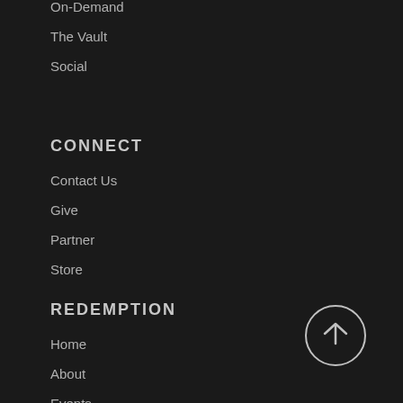On-Demand
The Vault
Social
CONNECT
Contact Us
Give
Partner
Store
REDEMPTION
Home
About
Events
Lifegroups
[Figure (illustration): Back to top button: circle with upward arrow]